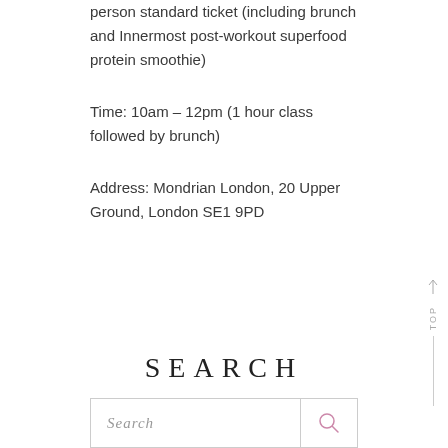person standard ticket (including brunch and Innermost post-workout superfood protein smoothie)
Time: 10am – 12pm (1 hour class followed by brunch)
Address: Mondrian London, 20 Upper Ground, London SE1 9PD
SEARCH